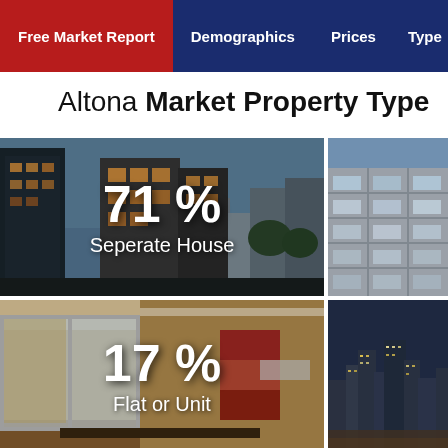Free Market Report | Demographics | Prices | Type
Altona Market Property Type
[Figure (photo): Photo of modern suburban houses at dusk with overlay text '71 % Seperate House']
[Figure (photo): Partial photo of apartment building exterior on the right side]
[Figure (photo): Photo of a modern open-plan interior with large glass windows with overlay text '17 % Flat or Unit']
[Figure (photo): Partial photo of city skyline at night on the right side]